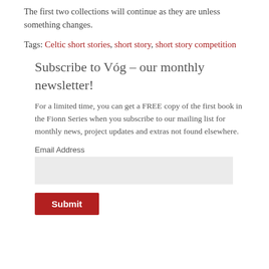The first two collections will continue as they are unless something changes.
Tags: Celtic short stories, short story, short story competition
Subscribe to Vóg – our monthly newsletter!
For a limited time, you can get a FREE copy of the first book in the Fionn Series when you subscribe to our mailing list for monthly news, project updates and extras not found elsewhere.
Email Address
Submit